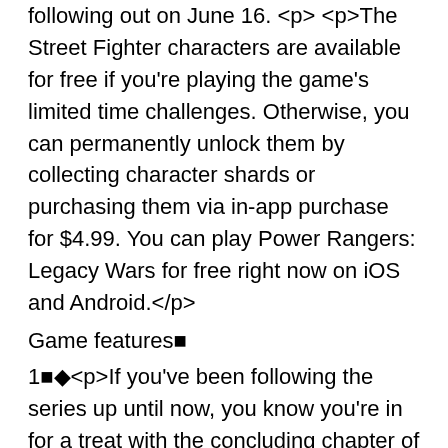following out on June 16. <p> The Street Fighter characters are available for free if you're playing the game's limited time challenges. Otherwise, you can permanently unlock them by collecting character shards or purchasing them via in-app purchase for $4.99. You can play Power Rangers: Legacy Wars for free right now on iOS and Android.</p>
Game features■
1■◆<p>If you've been following the series up until now, you know you're in for a treat with the concluding chapter of the mysterious Blackwell franchise.</p><p>Wadjet Eye Games are known for making quality point and click adventure games "like they used to be" and this one seems to be no different. It's been out for a little while on PC but you can now get it on your mobile device.</p><p>I won't spoil the story of this one so you'll have to see what it's about for yourself but if you havent played Blackwell before, check out our review and then buy the game, you won't regret it.</p><p>If just want an experience that is self contained, check